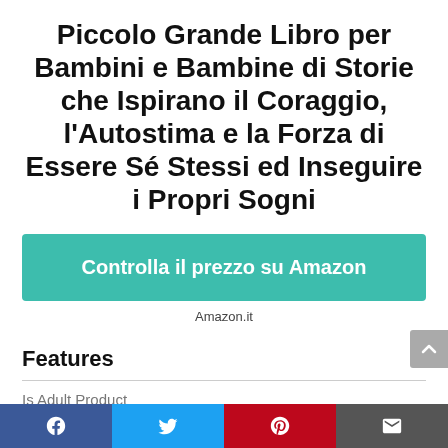Piccolo Grande Libro per Bambini e Bambine di Storie che Ispirano il Coraggio, l'Autostima e la Forza di Essere Sé Stessi ed Inseguire i Propri Sogni
Controlla il prezzo su Amazon
Amazon.it
Features
Is Adult Product